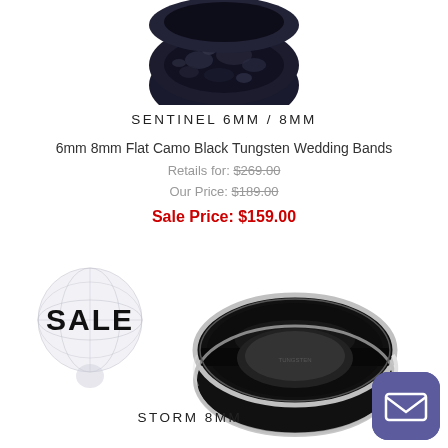[Figure (photo): Black tungsten camo ring (Sentinel) viewed from above, partially cropped at top]
SENTINEL 6MM / 8MM
6mm 8mm Flat Camo Black Tungsten Wedding Bands
Retails for: $269.00
Our Price: $189.00
Sale Price: $159.00
[Figure (other): Globe watermark with SALE text overlay badge]
[Figure (photo): Black tungsten Storm 8mm ring with silver edge, viewed at angle showing interior]
STORM 8MM